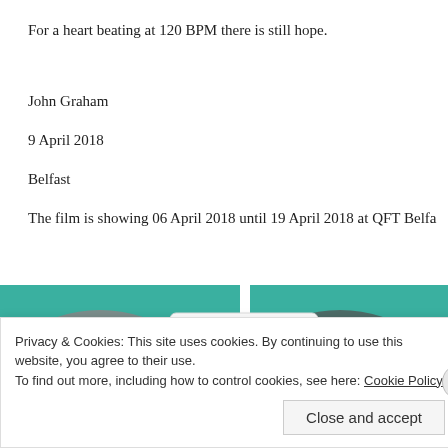For a heart beating at 120 BPM there is still hope.
John Graham
9 April 2018
Belfast
The film is showing 06 April 2018 until 19 April 2018 at QFT Belfa
[Figure (screenshot): Screenshot of a webpage showing a PayPal logo on a card/image, with a green background, partially visible.]
Privacy & Cookies: This site uses cookies. By continuing to use this website, you agree to their use.
To find out more, including how to control cookies, see here: Cookie Policy
Close and accept